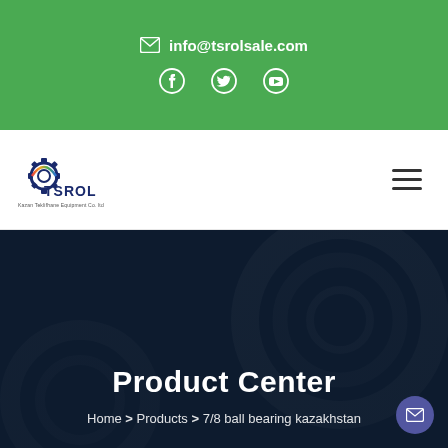✉ info@tsrolsale.com
[Figure (logo): Social media icons: Facebook, Twitter, YouTube in white on green background]
[Figure (logo): TSROL company logo with gear icon and text 'Kazan Teklifhane Equipment Co. ltd']
[Figure (illustration): Hamburger menu icon (three horizontal lines) on right side of navigation bar]
Product Center
Home > Products > 7/8 ball bearing kazakhstan